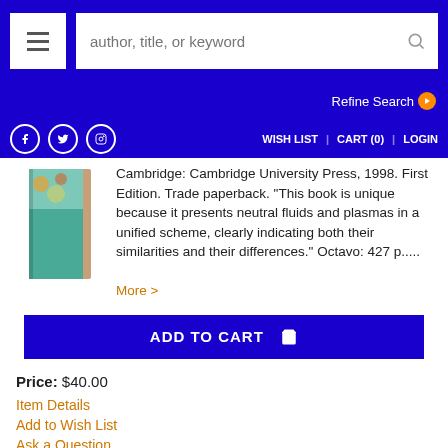author, title, or keyword | Refine Search | WISH LIST | CART (0) | LOGIN
[Figure (illustration): Book spine/cover showing a teal and brown colored book]
Cambridge: Cambridge University Press, 1998. First Edition. Trade paperback. "This book is unique because it presents neutral fluids and plasmas in a unified scheme, clearly indicating both their similarities and their differences." Octavo: 427 p.....
More >
ADD TO CART
Price: $40.00
Item Details
Add to Wish List
Ask a Question